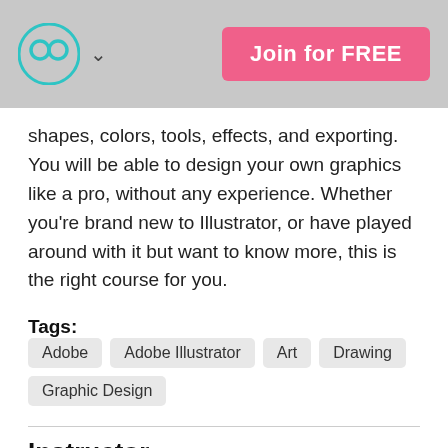Join for FREE
shapes, colors, tools, effects, and exporting. You will be able to design your own graphics like a pro, without any experience. Whether you're brand new to Illustrator, or have played around with it but want to know more, this is the right course for you.
Tags: Adobe  Adobe Illustrator  Art  Drawing  Graphic Design
Instructor
Rui L.